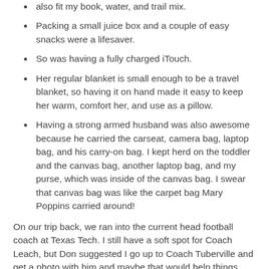also fit my book, water, and trail mix.
Packing a small juice box and a couple of easy snacks were a lifesaver.
So was having a fully charged iTouch.
Her regular blanket is small enough to be a travel blanket, so having it on hand made it easy to keep her warm, comfort her, and use as a pillow.
Having a strong armed husband was also awesome because he carried the carseat, camera bag, laptop bag, and his carry-on bag. I kept herd on the toddler and the canvas bag, another laptop bag, and my purse, which was inside of the canvas bag. I swear that canvas bag was like the carpet bag Mary Poppins carried around!
On our trip back, we ran into the current head football coach at Texas Tech. I still have a soft spot for Coach Leach, but Don suggested I go up to Coach Tuberville and get a photo with him and maybe that would help things. You know what, it did. I felt a little better about the current state of our football